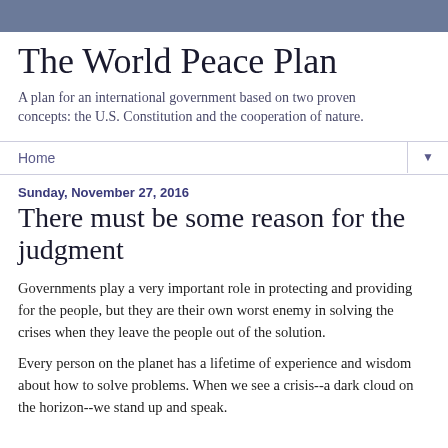The World Peace Plan
A plan for an international government based on two proven concepts: the U.S. Constitution and the cooperation of nature.
Home
Sunday, November 27, 2016
There must be some reason for the judgment
Governments play a very important role in protecting and providing for the people, but they are their own worst enemy in solving the crises when they leave the people out of the solution.
Every person on the planet has a lifetime of experience and wisdom about how to solve problems. When we see a crisis--a dark cloud on the horizon--we stand up and speak.